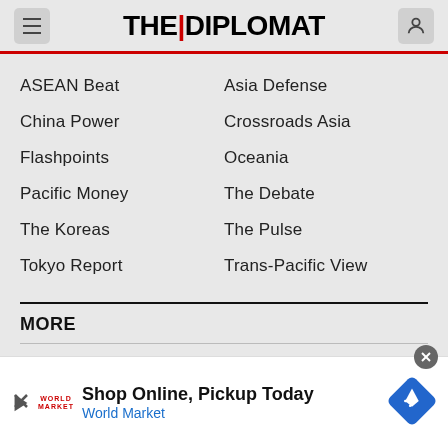THE|DIPLOMAT
ASEAN Beat
Asia Defense
China Power
Crossroads Asia
Flashpoints
Oceania
Pacific Money
The Debate
The Koreas
The Pulse
Tokyo Report
Trans-Pacific View
MORE
Features
Interviews
Photo Essays
Podcasts
Shop Online, Pickup Today
World Market